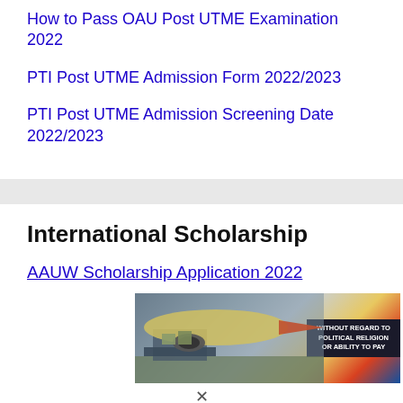How to Pass OAU Post UTME Examination 2022
PTI Post UTME Admission Form 2022/2023
PTI Post UTME Admission Screening Date 2022/2023
International Scholarship
AAUW Scholarship Application 2022
[Figure (photo): Advertisement banner showing an airplane being loaded with cargo, with text 'WITHOUT REGARD TO POLITICAL RELIGION OR ABILITY TO PAY' on a dark background on the right side.]